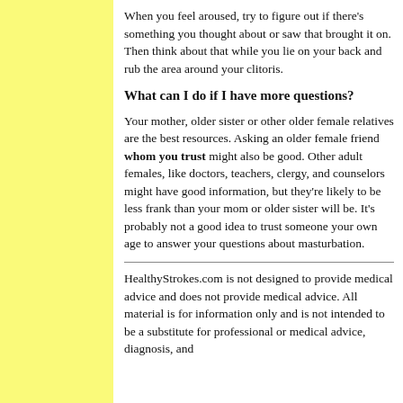When you feel aroused, try to figure out if there's something you thought about or saw that brought it on. Then think about that while you lie on your back and rub the area around your clitoris.
What can I do if I have more questions?
Your mother, older sister or other older female relatives are the best resources. Asking an older female friend whom you trust might also be good. Other adult females, like doctors, teachers, clergy, and counselors might have good information, but they're likely to be less frank than your mom or older sister will be. It's probably not a good idea to trust someone your own age to answer your questions about masturbation.
HealthyStrokes.com is not designed to provide medical advice and does not provide medical advice. All material is for information only and is not intended to be a substitute for professional or medical advice, diagnosis, and